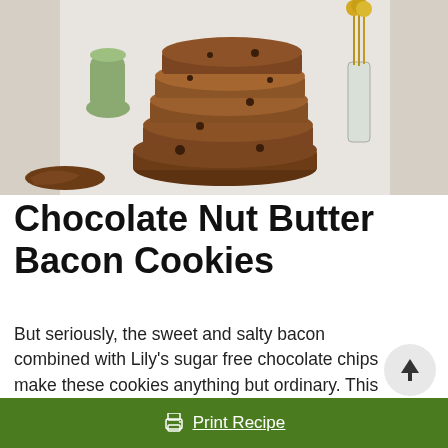[Figure (photo): Stack of chocolate nut butter bacon cookies on a light background with a green vase and glass vase with yellow flowers in the background]
Chocolate Nut Butter Bacon Cookies
But seriously, the sweet and salty bacon combined with Lily's sugar free chocolate chips make these cookies anything but ordinary. This recipe is a must-try!
Print Recipe